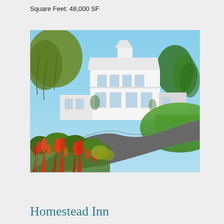Square Feet: 48,000 SF
[Figure (photo): Exterior photograph of a large white Victorian-style inn building with lush gardens, red flowering plants in the foreground, a curving driveway, and green trees and lawn surrounding the property under a blue sky.]
Homestead Inn